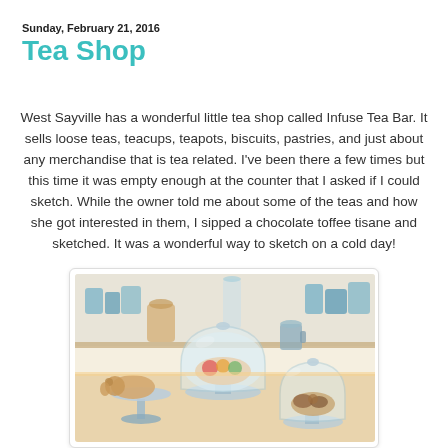Sunday, February 21, 2016
Tea Shop
West Sayville has a wonderful little tea shop called Infuse Tea Bar. It sells loose teas, teacups, teapots, biscuits, pastries, and just about any merchandise that is tea related. I've been there a few times but this time it was empty enough at the counter that I asked if I could sketch. While the owner told me about some of the teas and how she got interested in them, I sipped a chocolate toffee tisane and sketched. It was a wonderful way to sketch on a cold day!
[Figure (illustration): Watercolor sketch of a tea shop counter showing tiered cake stands and glass domes with pastries, mugs, and blue canisters in the background.]